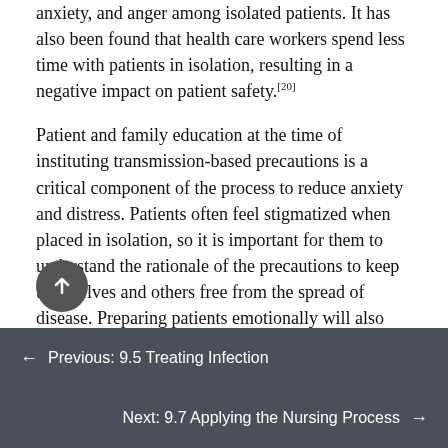anxiety, and anger among isolated patients. It has also been found that health care workers spend less time with patients in isolation, resulting in a negative impact on patient safety.[20]
Patient and family education at the time of instituting transmission-based precautions is a critical component of the process to reduce anxiety and distress. Patients often feel stigmatized when placed in isolation, so it is important for them to understand the rationale of the precautions to keep themselves and others free from the spread of disease. Preparing patients emotionally will also decrease their anxiety and help them cope with isolation.[21] It is also important to provide
← Previous: 9.5 Treating Infection   Next: 9.7 Applying the Nursing Process →